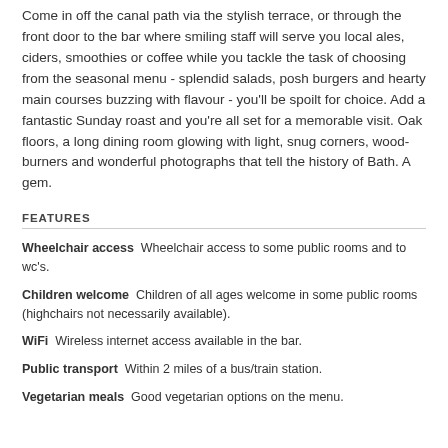Come in off the canal path via the stylish terrace, or through the front door to the bar where smiling staff will serve you local ales, ciders, smoothies or coffee while you tackle the task of choosing from the seasonal menu - splendid salads, posh burgers and hearty main courses buzzing with flavour - you'll be spoilt for choice. Add a fantastic Sunday roast and you're all set for a memorable visit. Oak floors, a long dining room glowing with light, snug corners, wood-burners and wonderful photographs that tell the history of Bath. A gem.
FEATURES
Wheelchair access  Wheelchair access to some public rooms and to wc's.
Children welcome  Children of all ages welcome in some public rooms (highchairs not necessarily available).
WiFi  Wireless internet access available in the bar.
Public transport  Within 2 miles of a bus/train station.
Vegetarian meals  Good vegetarian options on the menu.